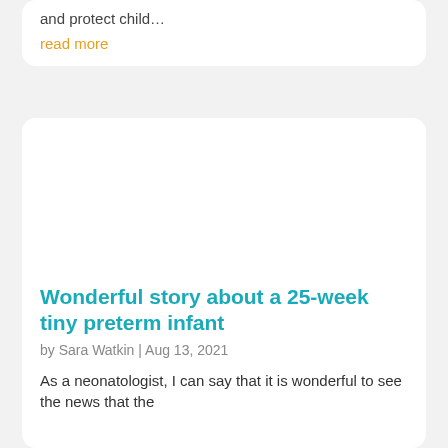and protect child…
read more
[Figure (photo): Blank white image placeholder for article thumbnail]
Wonderful story about a 25-week tiny preterm infant
by Sara Watkin | Aug 13, 2021
As a neonatologist, I can say that it is wonderful to see the news that the